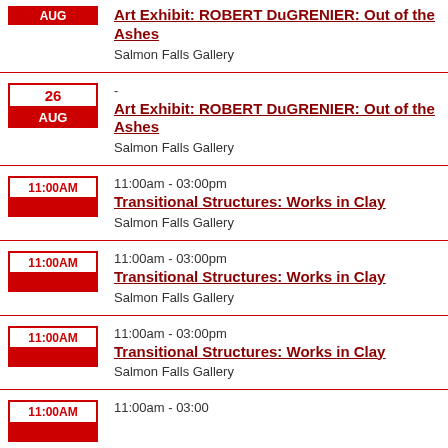AUG | Art Exhibit: ROBERT DuGRENIER: Out of the Ashes | Salmon Falls Gallery
26 AUG | - | Art Exhibit: ROBERT DuGRENIER: Out of the Ashes | Salmon Falls Gallery
11:00AM | 11:00am - 03:00pm | Transitional Structures: Works in Clay | Salmon Falls Gallery
11:00AM | 11:00am - 03:00pm | Transitional Structures: Works in Clay | Salmon Falls Gallery
11:00AM | 11:00am - 03:00pm | Transitional Structures: Works in Clay | Salmon Falls Gallery
11:00AM | 11:00am - 03:00pm | (partial)